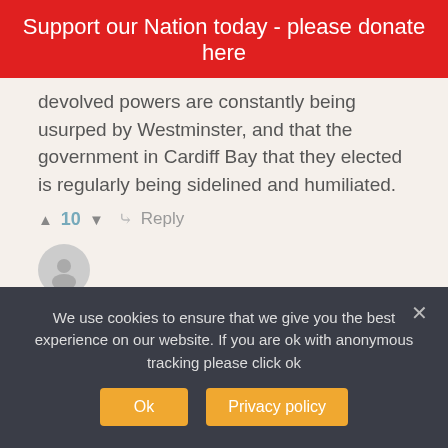Support our Nation today - please donate here
devolved powers are constantly being usurped by Westminster, and that the government in Cardiff Bay that they elected is regularly being sidelined and humiliated.
▲ 10 ▼   ↪ Reply
[Figure (illustration): Grey circular avatar icon with generic person silhouette]
Nick Randall-Smith   🕐 1 year ago   ◀   🔗   🚩
If Wales can't rejoin the EU as part of the UK then we must rejoin as not part of the UK. Time for Plaid Cymru...
We use cookies to ensure that we give you the best experience on our website. If you are ok with anonymous tracking please click ok
Ok   Privacy policy